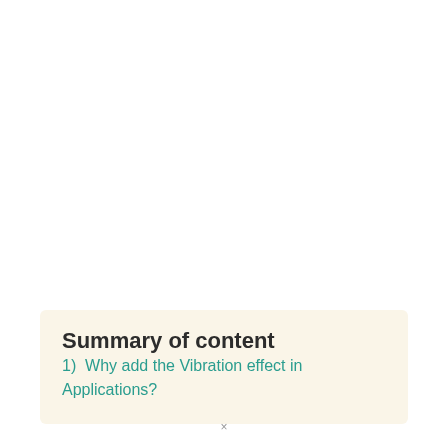Summary of content
1)  Why add the Vibration effect in Applications?